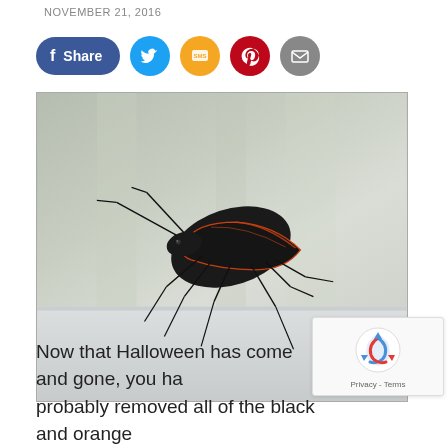NOVEMBER 21, 2016
[Figure (infographic): Social media share buttons: Facebook Share button (blue pill shape), Twitter button (blue circle), SMS/message button (yellow circle), Pinterest button (red circle), Email button (grey circle)]
[Figure (photo): Close-up photograph of a boxelder bug (black with orange/red markings) on a light grey/white surface with a blurred green background]
Now that Halloween has come and gone, you ha probably removed all of the black and orange